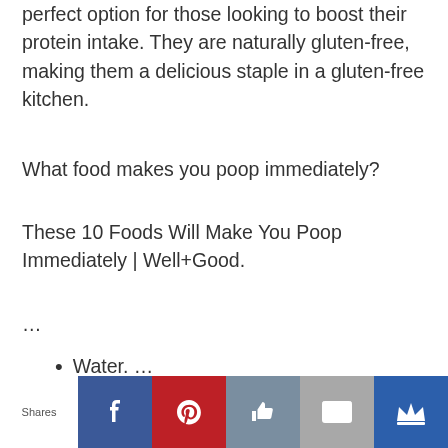perfect option for those looking to boost their protein intake. They are naturally gluten-free, making them a delicious staple in a gluten-free kitchen.
What food makes you poop immediately?
These 10 Foods Will Make You Poop Immediately | Well+Good.
…
Water. …
[Figure (infographic): Social sharing bar with Shares label and five buttons: Facebook (blue, f icon), Pinterest (red, P icon), Like (slate blue, thumbs up icon), Email (gray, envelope icon), Crown (dark blue, crown icon)]